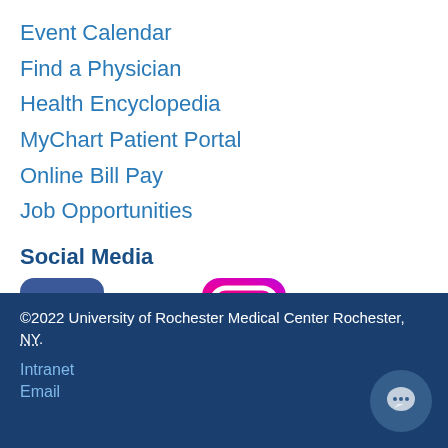Event Calendar
Find a Physician
Health Encyclopedia
MyChart Patient Portal
Online Bill Pay
Job Opportunities
Social Media
[Figure (logo): Facebook, Twitter, and Instagram social media icons]
©2022 University of Rochester Medical Center Rochester, NY.
Intranet
Email